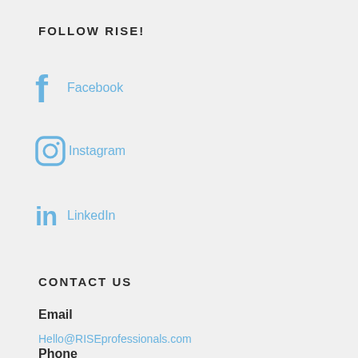FOLLOW RISE!
Facebook
Instagram
LinkedIn
CONTACT US
Email
Hello@RISEprofessionals.com
Phone